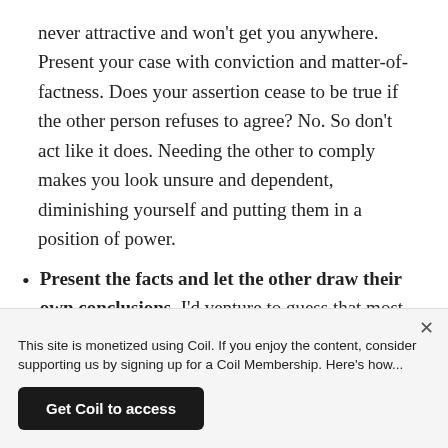never attractive and won't get you anywhere. Present your case with conviction and matter-of-factness. Does your assertion cease to be true if the other person refuses to agree? No. So don't act like it does. Needing the other to comply makes you look unsure and dependent, diminishing yourself and putting them in a position of power.
Present the facts and let the other draw their own conclusions. I'd venture to guess that most of the time you're working with people who are pretty smart,
This site is monetized using Coil. If you enjoy the content, consider supporting us by signing up for a Coil Membership. Here's how...
Get Coil to access